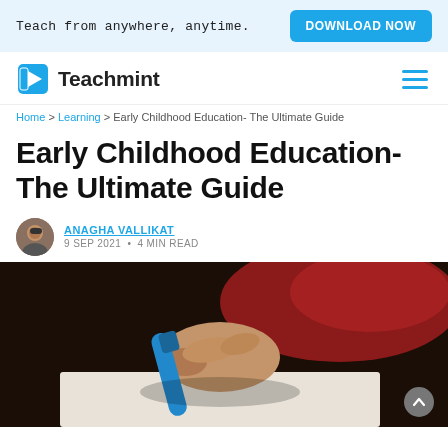Teach from anywhere, anytime. DOWNLOAD NOW
[Figure (logo): Teachmint logo with blue open book icon and hamburger menu]
Home > Learning > Early Childhood Education- The Ultimate Guide
Early Childhood Education- The Ultimate Guide
ANAGHA VALLIKAT
9 SEP 2021 • 4 MIN READ
[Figure (photo): Child's hand gripping a blue crayon/marker, writing on paper, with red clothing visible in background]